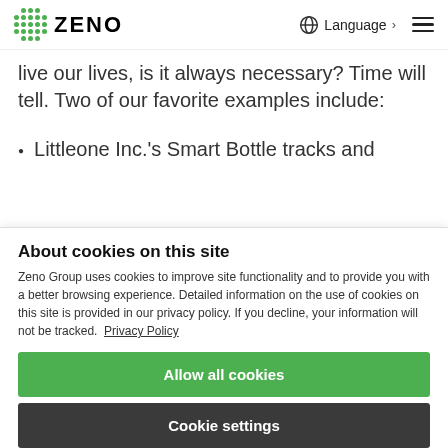ZENO | Language | (menu)
live our lives, is it always necessary? Time will tell. Two of our favorite examples include:
Littleone Inc.'s Smart Bottle tracks and
About cookies on this site
Zeno Group uses cookies to improve site functionality and to provide you with a better browsing experience. Detailed information on the use of cookies on this site is provided in our privacy policy. If you decline, your information will not be tracked.  Privacy Policy
Allow all cookies
Cookie settings